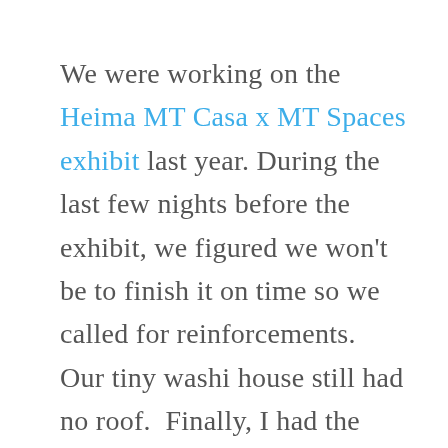We were working on the Heima MT Casa x MT Spaces exhibit last year. During the last few nights before the exhibit, we figured we won't be to finish it on time so we called for reinforcements.  Our tiny washi house still had no roof.  Finally, I had the idea of cutting circles from craft paper.  Together with our friends Pierre & Gicel, we prepared